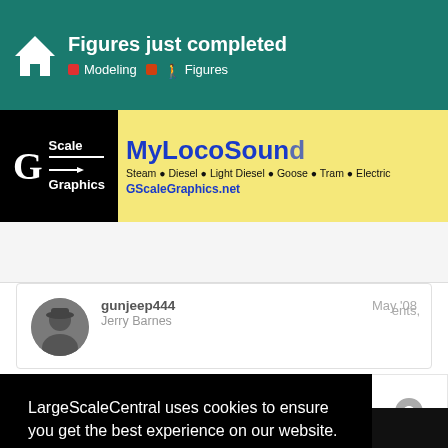Figures just completed — Modeling > Figures
[Figure (screenshot): MyLocoSound / Scale Graphics advertisement banner showing G Scale Graphics logo and MyLocoSound branding with product list and GScaleGraphics.net URL]
gunjeep444
Jerry Barnes
May '08
ents,
LargeScaleCentral uses cookies to ensure you get the best experience on our website.
Learn more
Got it!
[Figure (logo): Precision RC logo partial at bottom left]
[Figure (logo): Partial logo at bottom right]